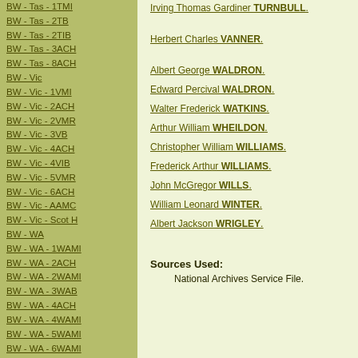BW - Tas - 1TMI
BW - Tas - 2TB
BW - Tas - 2TIB
BW - Tas - 3ACH
BW - Tas - 8ACH
BW - Vic
BW - Vic - 1VMI
BW - Vic - 2ACH
BW - Vic - 2VMR
BW - Vic - 3VB
BW - Vic - 4ACH
BW - Vic - 4VIB
BW - Vic - 5VMR
BW - Vic - 6ACH
BW - Vic - AAMC
BW - Vic - Scot H
BW - WA
BW - WA - 1WAMI
BW - WA - 2ACH
BW - WA - 2WAMI
BW - WA - 3WAB
BW - WA - 4ACH
BW - WA - 4WAMI
BW - WA - 5WAMI
BW - WA - 6WAMI
BW - WA - 8ACH
BW Gen - Campaign
BW Gen - Soldiers
Irving Thomas Gardiner TURNBULL.
Herbert Charles VANNER.
Albert George WALDRON.
Edward Percival WALDRON.
Walter Frederick WATKINS.
Arthur William WHEILDON.
Christopher William WILLIAMS.
Frederick Arthur WILLIAMS.
John McGregor WILLS.
William Leonard WINTER.
Albert Jackson WRIGLEY.
Sources Used:
National Archives Service File.